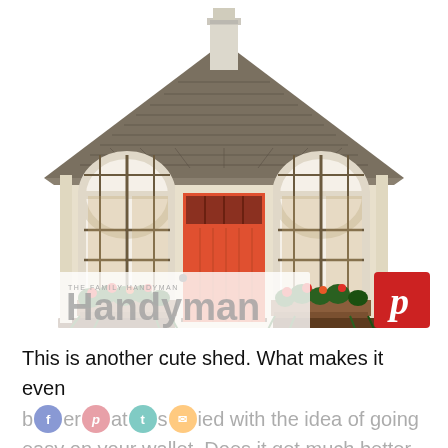[Figure (photo): A charming cottage-style garden shed with a dark shingled gabled roof, cream/beige siding, a bright red-orange front door with a transom window, two arched multi-pane windows with flower boxes below, and a small chimney at the top. The Family Handyman logo appears in the lower left of the image, and a Pinterest share button (red square with white 'p') appears in the lower right.]
This is another cute shed. What makes it even better is that it started with the idea of going easy on your wallet. Does it get much better than